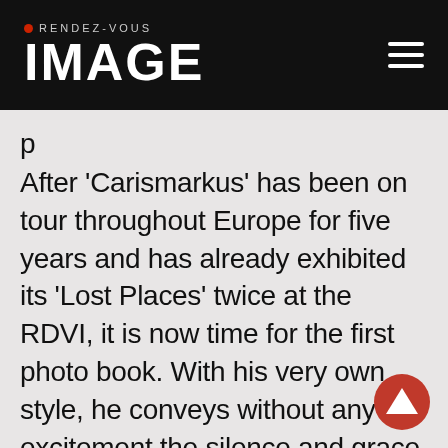RENDEZ-VOUS IMAGE
p
After 'Carismarkus' has been on tour throughout Europe for five years and has already exhibited its 'Lost Places' twice at the RDVI, it is now time for the first photo book. With his very own style, he conveys without any excitement the silence and grace inherent in these buildings. And for exactly this reason it is worthwhile to take the book in your hand again and again, even after years, because this grace is